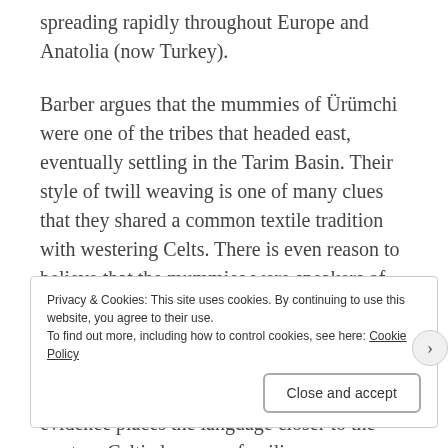spreading rapidly throughout Europe and Anatolia (now Turkey).
Barber argues that the mummies of Ürümchi were one of the tribes that headed east, eventually settling in the Tarim Basin. Their style of twill weaving is one of many clues that they shared a common textile tradition with westering Celts. There is even reason to believe that the mummies were speakers of Tokharian, a language preserved for millennia in Buddhist holy texts, but only decoded in the early 20th century. While the script of Tokharian is Indic, phonological evidence places the language closer to the western Celtic language families
Privacy & Cookies: This site uses cookies. By continuing to use this website, you agree to their use.
To find out more, including how to control cookies, see here: Cookie Policy
Close and accept